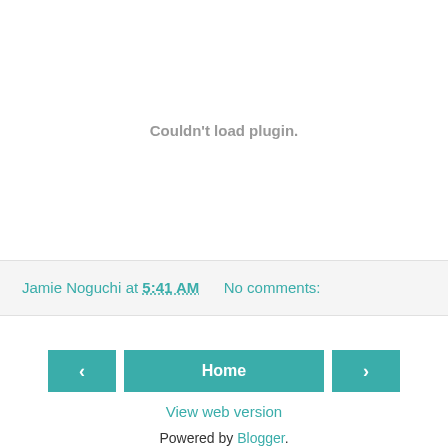Couldn't load plugin.
Jamie Noguchi at 5:41 AM   No comments:
‹   Home   ›
View web version
Powered by Blogger.